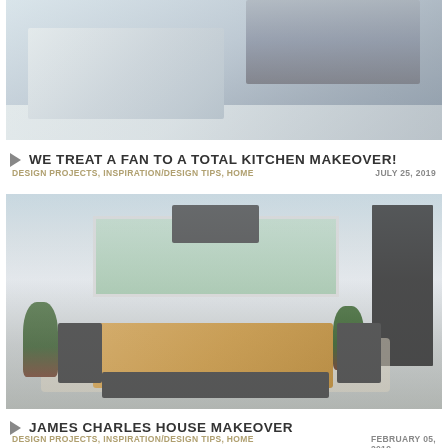[Figure (photo): Kitchen makeover photo showing white countertops with sink, stainless steel appliances including oven and refrigerator, herringbone tile floor]
WE TREAT A FAN TO A TOTAL KITCHEN MAKEOVER!
DESIGN PROJECTS, INSPIRATION/DESIGN TIPS, HOME    JULY 25, 2019
[Figure (photo): Dining room makeover photo showing farmhouse-style wooden table with black Windsor chairs and bench, white shiplap walls, white brick accent wall, large windows with greenery outside, black barn door, and black rectangular pendant light]
JAMES CHARLES HOUSE MAKEOVER
DESIGN PROJECTS, INSPIRATION/DESIGN TIPS, HOME    FEBRUARY 05, 2019